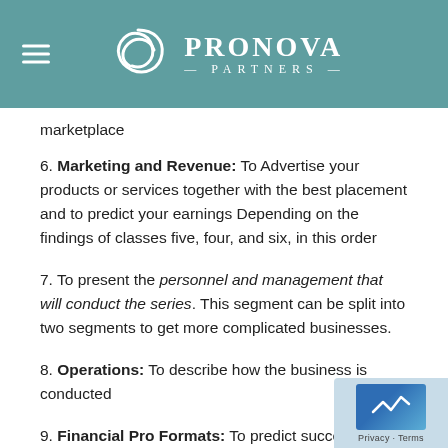ProNova Partners
marketplace
6. Marketing and Revenue: To Advertise your products or services together with the best placement and to predict your earnings Depending on the findings of classes five, four, and six, in this order
7. To present the personnel and management that will conduct the series. This segment can be split into two segments to get more complicated businesses.
8. Operations: To describe how the business is conducted
9. Financial Pro Formats: To predict successful